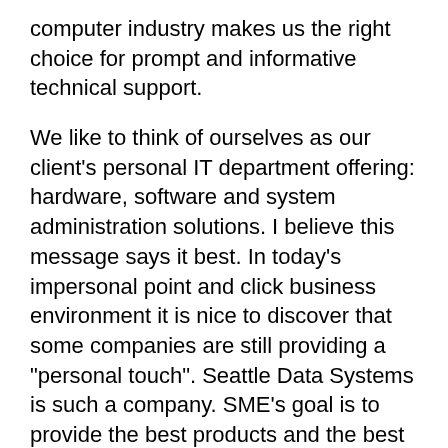computer industry makes us the right choice for prompt and informative technical support.
We like to think of ourselves as our client's personal IT department offering: hardware, software and system administration solutions. I believe this message says it best. In today's impersonal point and click business environment it is nice to discover that some companies are still providing a "personal touch". Seattle Data Systems is such a company. SME's goal is to provide the best products and the best service with a "personal touch". This effort permeates the company.
We start with our careful selection of the leading manufacturers of computer hardware to be our direct partners. These include major manufacturers such as Acer, Epson, Hewlett Packard, ......etc. This enables us to offer a line of products that are reliable, leading edge and competitively priced. We have these manufacturer's